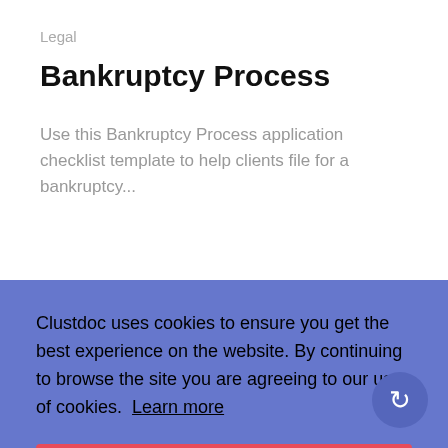Legal
Bankruptcy Process
Use this Bankruptcy Process application checklist template to help clients file for a bankruptcy...
Clustdoc uses cookies to ensure you get the best experience on the website. By continuing to browse the site you are agreeing to our use of cookies. Learn more
Got it!